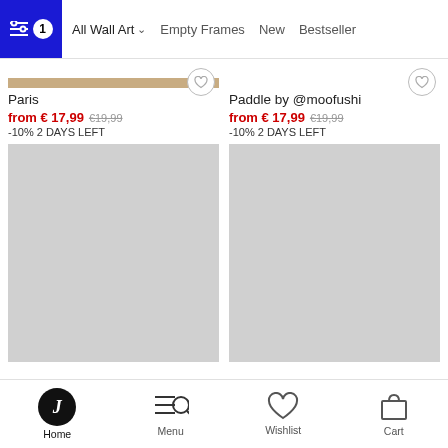All Wall Art  Empty Frames  New  Bestseller
Paris
from € 17,99  €19,99  -10% 2 DAYS LEFT
Paddle by @moofushi
from € 17,99  €19,99  -10% 2 DAYS LEFT
[Figure (photo): Gray placeholder image for product (left)]
[Figure (photo): Gray placeholder image for product (right)]
Home  Menu  Wishlist  Cart